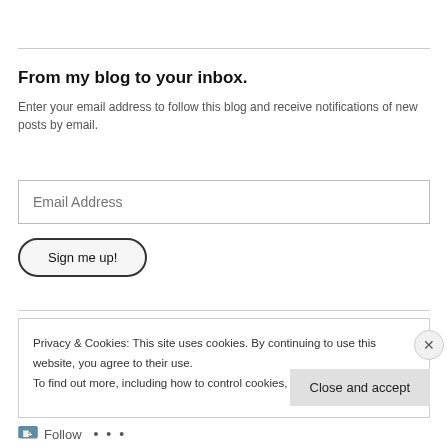From my blog to your inbox.
Enter your email address to follow this blog and receive notifications of new posts by email.
Email Address
Sign me up!
Privacy & Cookies: This site uses cookies. By continuing to use this website, you agree to their use.
To find out more, including how to control cookies, see here: Cookie Policy
Close and accept
Follow ...